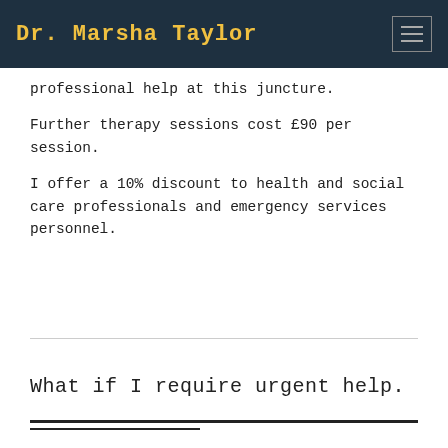Dr. Marsha Taylor
professional help at this juncture.
Further therapy sessions cost £90 per session.
I offer a 10% discount to health and social care professionals and emergency services personnel.
What if I require urgent help.